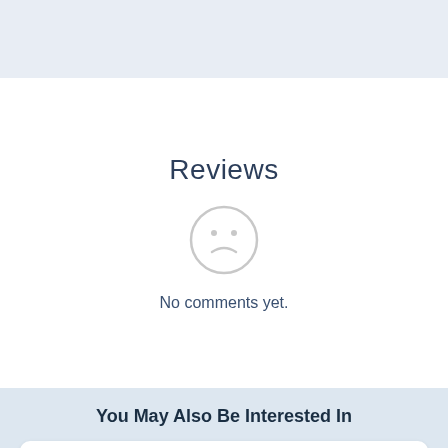Reviews
[Figure (illustration): Sad face / frown emoji icon in light gray, indicating no content]
No comments yet.
You May Also Be Interested In
Natives in Tech